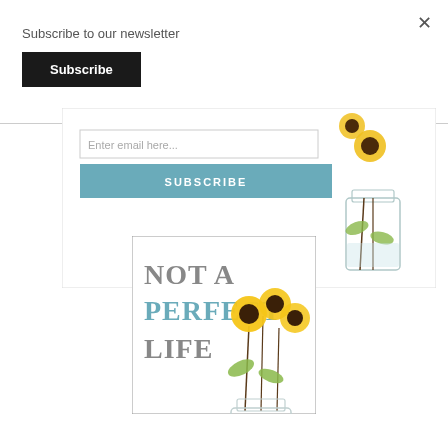Subscribe to our newsletter
Subscribe
[Figure (screenshot): Newsletter signup widget with email input field reading 'Enter email here...' and a teal SUBSCRIBE button, with a sunflower in mason jar illustration on the right]
[Figure (logo): Not A Perfect Life blog logo with text 'NOT A PERFECT LIFE' in grey and teal serif font with sunflower mason jar illustration]